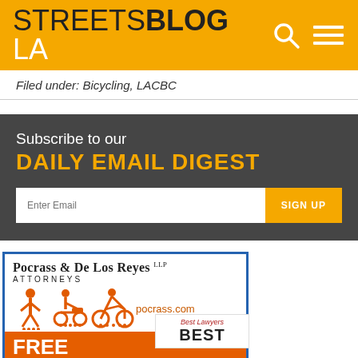STREETSBLOG LA
Filed under: Bicycling, LACBC
Subscribe to our DAILY EMAIL DIGEST
[Figure (screenshot): Email subscription form with Enter Email input and SIGN UP button]
[Figure (illustration): Advertisement for Pocrass & De Los Reyes LLP Attorneys with icons of pedestrian, scooter rider, and cyclist, website pocrass.com, FREE CONSULTATION text, and Best Lawyers BEST badge]